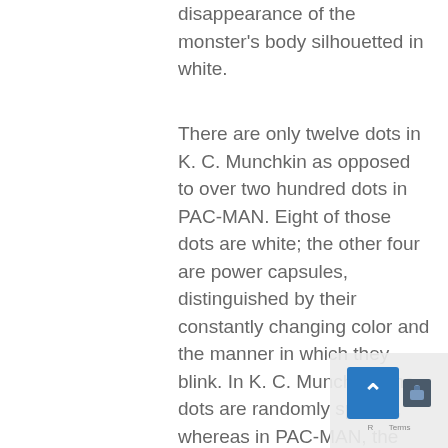disappearance of the monster's body silhouetted in white.
There are only twelve dots in K. C. Munchkin as opposed to over two hundred dots in PAC-MAN. Eight of those dots are white; the other four are power capsules, distinguished by their constantly changing color and the manner in which they blink. In K. C. Munchkin, the dots are randomly spaced, whereas in PAC-MAN, the dots are uniformly spaced. Furthermore, in K. C. *613 Munchkin, the dots are rectangular and are always moving. As the gobbler munches more dots, the speed of the remaining dots progressively increases, and the last dot moves at the same speed